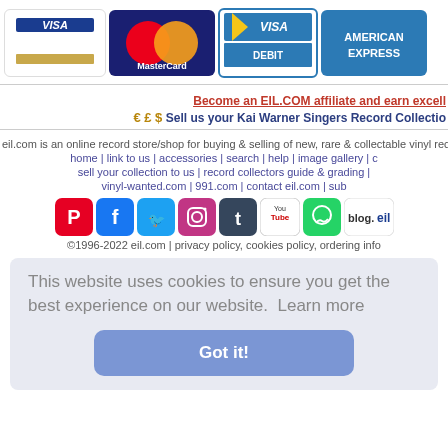[Figure (illustration): Row of payment method logos: VISA, MasterCard, VISA DEBIT, AMERICAN EXPRESS]
Become an EIL.COM affiliate and earn excell
€ £ $ Sell us your Kai Warner Singers Record Collectio
eil.com is an online record store/shop for buying & selling of new, rare & collectable vinyl rec
home | link to us | accessories | search | help | image gallery | c
sell your collection to us | record collectors guide & grading |
vinyl-wanted.com | 991.com | contact eil.com | sub
[Figure (illustration): Social media icons row: Pinterest, Facebook, Twitter, Instagram, Tumblr, YouTube, WhatsApp, blog.eil]
©1996-2022 eil.com | privacy policy, cookies policy, ordering info
This website uses cookies to ensure you get the best experience on our website.  Learn more
Got it!